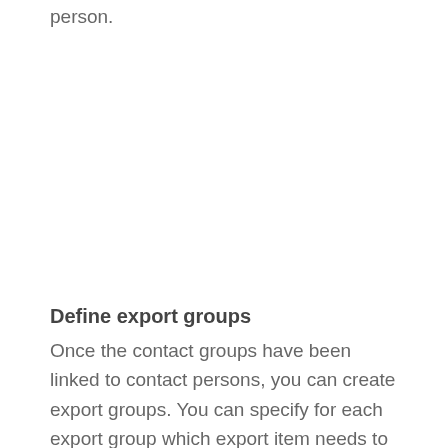person.
Define export groups
Once the contact groups have been linked to contact persons, you can create export groups. You can specify for each export group which export item needs to be sent. You are given the choice of packing slip…